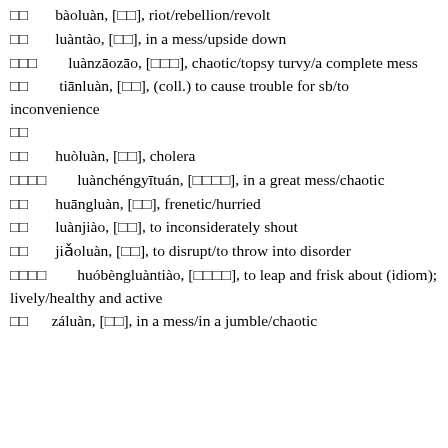□□ bàoluàn, [□□], riot/rebellion/revolt
□□ luàntào, [□□], in a mess/upside down
□□□ luànzāozāo, [□□□], chaotic/topsy turvy/a complete mess
□□ tiānluàn, [□□], (coll.) to cause trouble for sb/to inconvenience
□□
□□ huòluàn, [□□], cholera
□□□□ luànchéngyītuán, [□□□□], in a great mess/chaotic
□□ huāngluàn, [□□], frenetic/hurried
□□ luànjiào, [□□], to inconsiderately shout
□□ jiǎoluàn, [□□], to disrupt/to throw into disorder
□□□□ huóbèngluàntiào, [□□□□], to leap and frisk about (idiom); lively/healthy and active
□□ záluàn, [□□], in a mess/in a jumble/chaotic